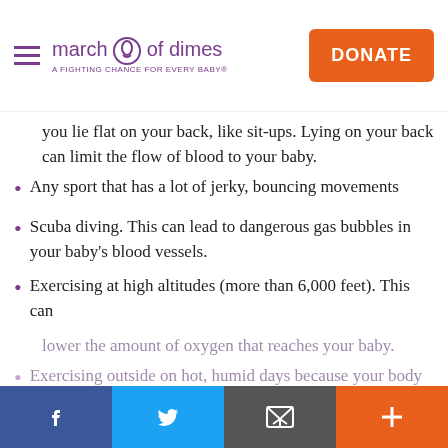march of dimes — A FIGHTING CHANCE FOR EVERY BABY® | DONATE
you lie flat on your back, like sit-ups. Lying on your back can limit the flow of blood to your baby.
Any sport that has a lot of jerky, bouncing movements
Scuba diving. This can lead to dangerous gas bubbles in your baby's blood vessels.
Exercising at high altitudes (more than 6,000 feet). This can lower the amount of oxygen that reaches your baby.
Exercising outside on hot, humid days because your body can overheat. Also, hot tubs and steam rooms.
When you do exercise, drink lots of water. Pay attention to your body and how you feel. Stop your activity and call your provider if you have any of these signs:
[Figure (screenshot): Popup overlay: Don't miss March for Babies. Sign up to help every baby and save lives in your community and across the country. I'M IN button. Photo of mother and baby.]
Facebook | Twitter | Email | More